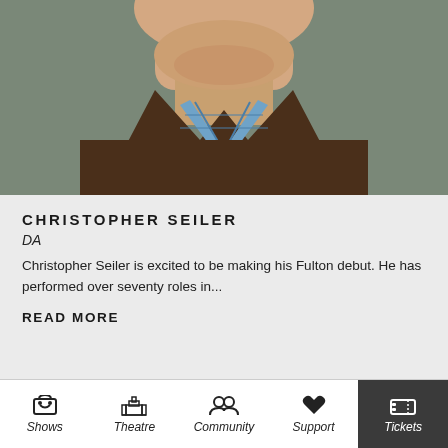[Figure (photo): Close-up photo of a man (Christopher Seiler) from chin to chest, wearing a brown sweater over a blue plaid shirt, with a blurred green background.]
CHRISTOPHER SEILER
DA
Christopher Seiler is excited to be making his Fulton debut. He has performed over seventy roles in...
READ MORE
[Figure (photo): Close-up photo of a young woman with blonde highlighted hair, photographed from the forehead to just below the eyes.]
Shows  Theatre  Community  Support  Tickets